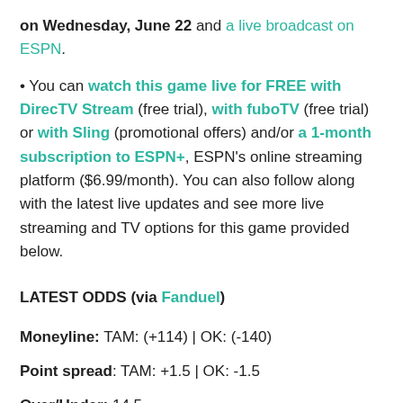on Wednesday, June 22 and a live broadcast on ESPN.
• You can watch this game live for FREE with DirecTV Stream (free trial), with fuboTV (free trial) or with Sling (promotional offers) and/or a 1-month subscription to ESPN+, ESPN's online streaming platform ($6.99/month). You can also follow along with the latest live updates and see more live streaming and TV options for this game provided below.
LATEST ODDS (via Fanduel)
Moneyline: TAM: (+114) | OK: (-140)
Point spread: TAM: +1.5 | OK: -1.5
Over/Under: 14.5